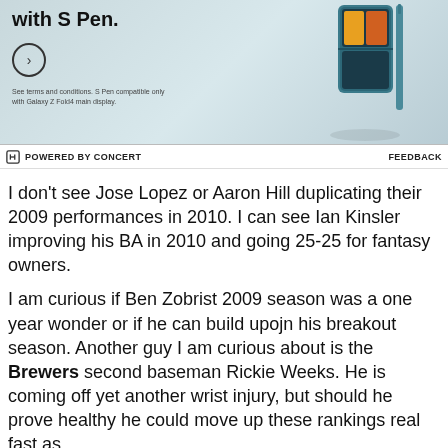[Figure (photo): Advertisement banner showing a Samsung Galaxy Z Fold4 phone with S Pen, teal/dark green color, with circular arrow button and disclaimer text. Background is light blue-gray.]
POWERED BY CONCERT   FEEDBACK
I don't see Jose Lopez or Aaron Hill duplicating their 2009 performances in 2010. I can see Ian Kinsler improving his BA in 2010 and going 25-25 for fantasy owners.
I am curious if Ben Zobrist 2009 season was a one year wonder or if he can build upojn his breakout season. Another guy I am curious about is the Brewers second baseman Rickie Weeks. He is coming off yet another wrist injury, but should he prove healthy he could move up these rankings real fast as